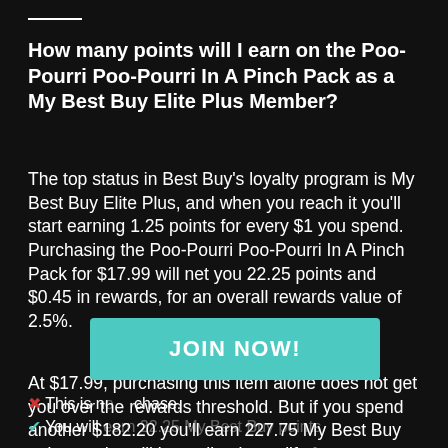How many points will I earn on the Poo-Pourri Poo-Pourri In A Pinch Pack as a My Best Buy Elite Plus Member?
The top status in Best Buy's loyalty program is My Best Buy Elite Plus, and when you reach it you'll start earning 1.25 points for every $1 you spend. Purchasing the Poo-Pourri Poo-Pourri In A Pinch Pack for $17.99 will net you 22.25 points and $0.45 in rewards, for an overall rewards value of 2.5%.
At $17.99, purchasing this item alone does not get you over the rewards threshold. But if you spend another $182.20 you'll earn 227.75 My Best Buy points and you'll immediately qualify for a rewar...
[Figure (other): Teal/cyan JOIN NOW! call-to-action button overlay]
✖ This is no... ...chase.
✔ You will earn 22.25 My Best Buy points.